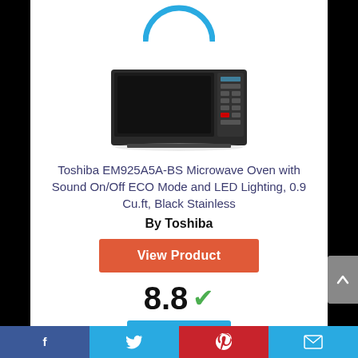[Figure (illustration): Partial blue circular arc/ring icon at the top of the page, cut off]
[Figure (photo): Toshiba EM925A5A-BS Microwave Oven product photo, black stainless steel, front view]
Toshiba EM925A5A-BS Microwave Oven with Sound On/Off ECO Mode and LED Lighting, 0.9 Cu.ft, Black Stainless
By Toshiba
View Product
8.8
Score
Facebook | Twitter | Pinterest | Mail